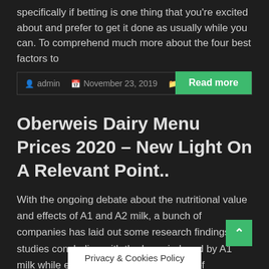specifically if betting is one thing that you're excited about and prefer to get it done as usually while you can. To comprehend much more about the four best factors to
admin  November 23, 2019  All Votes Count
Read more
Oberweis Dairy Menu Prices 2020 – New Light On A Relevant Point..
With the ongoing debate about the nutritional value and effects of A1 and A2 milk, a bunch of companies has laid out some research findings and studies concluding with the harm induced by A1 milk while enumerating the advantages of
admin  Novembe...  ...Count
Privacy & Cookies Policy